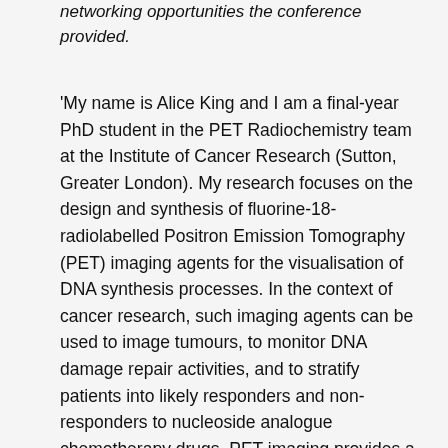networking opportunities the conference provided.
'My name is Alice King and I am a final-year PhD student in the PET Radiochemistry team at the Institute of Cancer Research (Sutton, Greater London). My research focuses on the design and synthesis of fluorine-18-radiolabelled Positron Emission Tomography (PET) imaging agents for the visualisation of DNA synthesis processes. In the context of cancer research, such imaging agents can be used to image tumours, to monitor DNA damage repair activities, and to stratify patients into likely responders and non-responders to nucleoside analogue chemotherapy drugs. PET imaging provides a valuable resource for the development of personalised cancer treatment strategies.